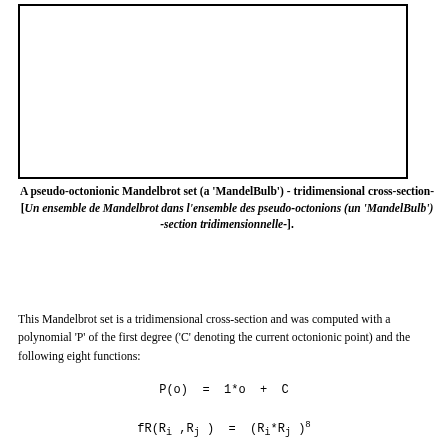[Figure (illustration): Empty white rectangle with black border representing a placeholder for a pseudo-octonionic Mandelbulb 3D cross-section image]
A pseudo-octonionic Mandelbrot set (a 'MandelBulb') - tridimensional cross-section- [Un ensemble de Mandelbrot dans l'ensemble des pseudo-octonions (un 'MandelBulb') -section tridimensionnelle-].
This Mandelbrot set is a tridimensional cross-section and was computed with a polynomial 'P' of the first degree ('C' denoting the current octonionic point) and the following eight functions: